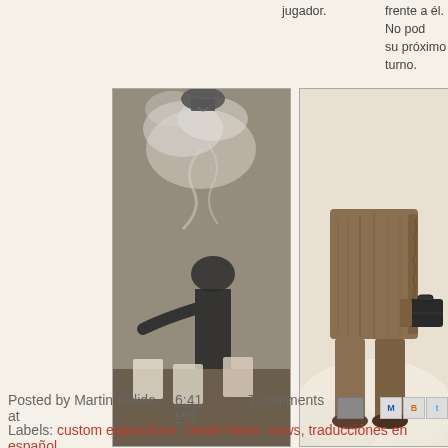jugador.
frente a él. No pod... su próximo turno.
[Figure (illustration): Black and white illustration of a person blowing smoke over a table with cards - Ouija board themed artwork]
[Figure (illustration): Color illustration of a person's lower body standing with a briefcase - western style artwork]
Tabla Ouija. Elige 2 cartas en la mano de un jugador vivo. Secretamente, Míralas y muéstraselas a otro jugador. Ninguna acción puede ocurrir hasta que las cartas se devuelven.
Asuntos Pendientes. Elige un jugador que atacaste vivo. El debe "¡desenfundar!" Rojo: roba 1 carta de su mano y añádela a tu "herencia del difunto." Negro: Será objetivo de un bang! Si los jugador que atacaste están muertos, elige a otro que necesitas matar para que "¡desenfunde!"
Posted by Martin Pulido at 6:41 PM    7 comments
Labels: custom expansions, Death Mesa, news, traducciónes en español